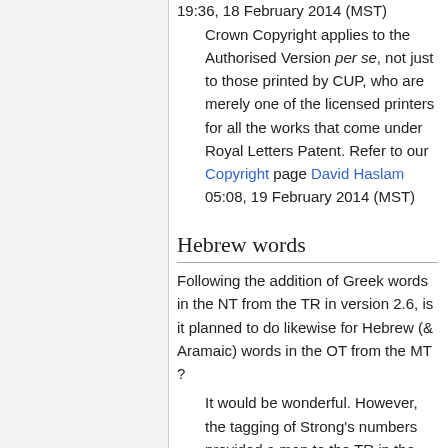19:36, 18 February 2014 (MST)
Crown Copyright applies to the Authorised Version per se, not just to those printed by CUP, who are merely one of the licensed printers for all the works that come under Royal Letters Patent. Refer to our Copyright page David Haslam 05:08, 19 February 2014 (MST)
Hebrew words
Following the addition of Greek words in the NT from the TR in version 2.6, is it planned to do likewise for Hebrew (& Aramaic) words in the OT from the MT ?
It would be wonderful. However, the tagging of Strong's numbers provided a map to the TR in the src="x y"